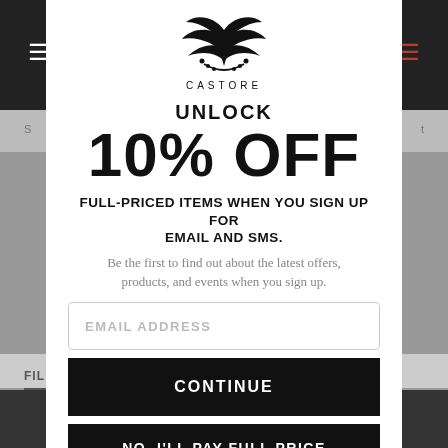[Figure (logo): Castore brand logo - winged emblem with text CASTORE below]
UNLOCK
10% OFF
FULL-PRICED ITEMS WHEN YOU SIGN UP FOR EMAIL AND SMS.
Be the first to find out about the latest offers, products, and events when you sign up.
EMAIL ADDRESS
CONTINUE
NO, I'LL PAY FULL PRICE